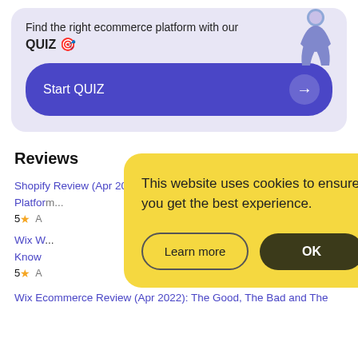Find the right ecommerce platform with our
QUIZ 🎯
Start QUIZ →
Reviews
Shopify Review (Apr 2022): Is Shopify the Best Ecommerce Platform
5 ★ A...
Wix W... ...ed to Know
5 ★ A...
This website uses cookies to ensure you get the best experience.
Learn more
OK
Wix Ecommerce Review (Apr 2022): The Good, The Bad and The